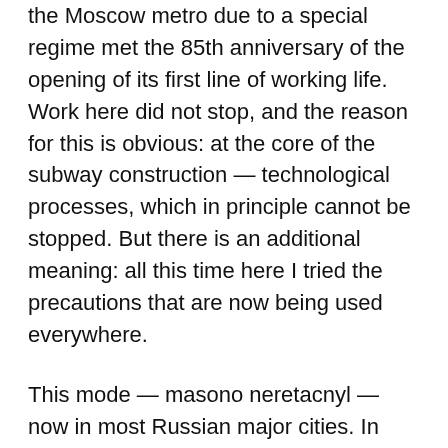the Moscow metro due to a special regime met the 85th anniversary of the opening of its first line of working life. Work here did not stop, and the reason for this is obvious: at the core of the subway construction — technological processes, which in principle cannot be stopped. But there is an additional meaning: all this time here I tried the precautions that are now being used everywhere.
This mode — masono neretacnyl — now in most Russian major cities. In Moscow for violations — fines in the suburbs — only warnings. The responsibility of the head of the region, and it is the only possible solution is too uneven, the virus is spreading across the country.
“we Have a big country. The epidemiological situation in different regions. We previously considered this factor, but in the coming phase, it is necessary to act more subtly, carefully. Shouldn’t be a total carbon copy, because in some